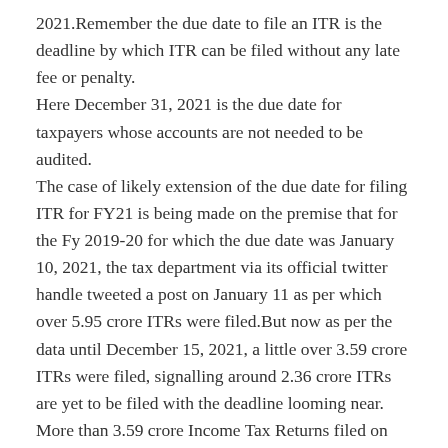2021.Remember the due date to file an ITR is the deadline by which ITR can be filed without any late fee or penalty. Here December 31, 2021 is the due date for taxpayers whose accounts are not needed to be audited. The case of likely extension of the due date for filing ITR for FY21 is being made on the premise that for the Fy 2019-20 for which the due date was January 10, 2021, the tax department via its official twitter handle tweeted a post on January 11 as per which over 5.95 crore ITRs were filed.But now as per the data until December 15, 2021, a little over 3.59 crore ITRs were filed, signalling around 2.36 crore ITRs are yet to be filed with the deadline looming near. More than 3.59 crore Income Tax Returns filed on new e-filing portal of Income Tax Dept till 15th December, 2021.More than 6 lakh ITRs being filed per day &